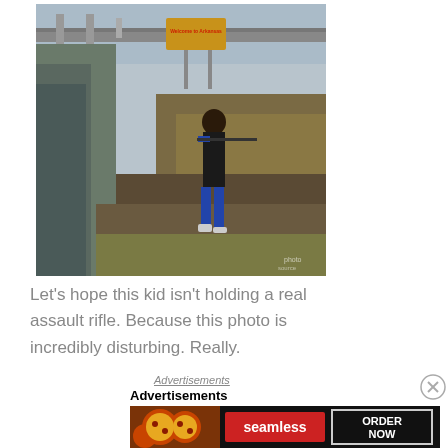[Figure (photo): A young person standing near a 'Welcome to Arkansas' road sign, holding what appears to be a rifle. There is a bridge and a road visible in the background with a grassy embankment.]
Let's hope this kid isn't holding a real assault rifle. Because this photo is incredibly disturbing. Really.
Advertisements
Advertisements
[Figure (screenshot): Advertisement banner for Seamless food ordering service showing pizza images, a red Seamless logo, and an 'ORDER NOW' button on a dark background.]